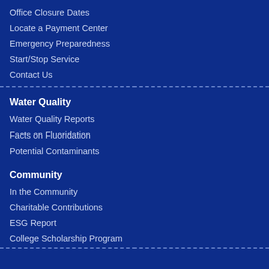Office Closure Dates
Locate a Payment Center
Emergency Preparedness
Start/Stop Service
Contact Us
Water Quality
Water Quality Reports
Facts on Fluoridation
Potential Contaminants
Community
In the Community
Charitable Contributions
ESG Report
College Scholarship Program